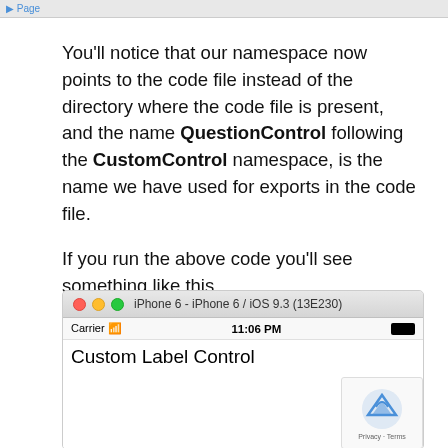You'll notice that our namespace now points to the code file instead of the directory where the code file is present, and the name QuestionControl following the CustomControl namespace, is the name we have used for exports in the code file.
If you run the above code you'll see something like this.
[Figure (screenshot): iOS Simulator screenshot showing iPhone 6 running iOS 9.3 (13E230) with a screen displaying 'Custom Label Control' as the navigation title, carrier signal at 11:06 PM]